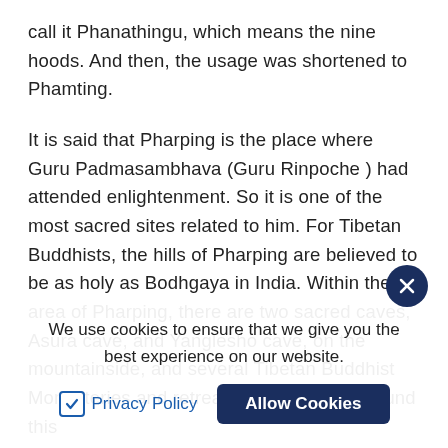call it Phanathingu, which means the nine hoods. And then, the usage was shortened to Phamting.

It is said that Pharping is the place where Guru Padmasambhava (Guru Rinpoche ) had attended enlightenment. So it is one of the most sacred sites related to him. For Tibetan Buddhists, the hills of Pharping are believed to be as holy as Bodhgaya in India. Within the area of Pharping, there are two sacred caves, Asura cave, and Yanglesho cave, on the mountainside, and several Tibetan Buddhist Monasteries and retreat centers in and around this small town.
The place called Pharping... [partially obscured by cookie banner]
We use cookies to ensure that we give you the best experience on our website.
Privacy Policy   Allow Cookies